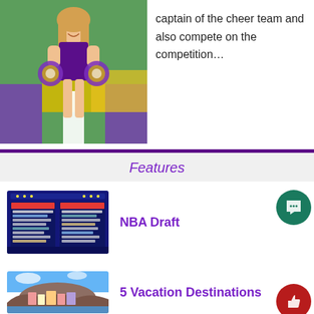[Figure (photo): Cheerleader in purple uniform kneeling on a colorful turf field holding purple and gold pom-poms]
captain of the cheer team and also compete on the competition…
[Figure (illustration): Purple horizontal divider line]
Features
[Figure (photo): NBA Draft scoreboard display with player names and picks listed on an arena screen]
NBA Draft
[Figure (photo): Scenic vacation destination with colorful buildings, coastal cliffs and blue sky]
5 Vacation Destinations